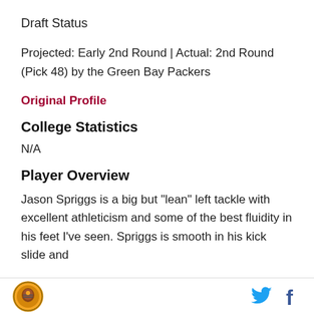Draft Status
Projected: Early 2nd Round | Actual: 2nd Round (Pick 48) by the Green Bay Packers
Original Profile
College Statistics
N/A
Player Overview
Jason Spriggs is a big but "lean" left tackle with excellent athleticism and some of the best fluidity in his feet I've seen. Spriggs is smooth in his kick slide and
Logo | Twitter | Facebook